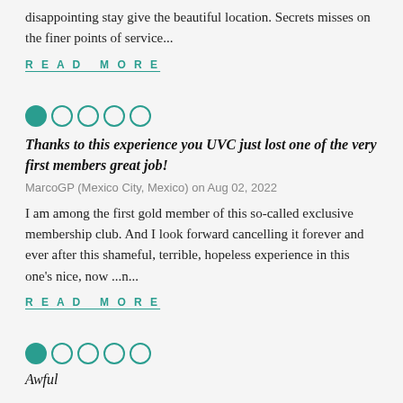disappointing stay give the beautiful location. Secrets misses on the finer points of service...
READ MORE
[Figure (other): 1 out of 5 stars rating: one filled teal circle followed by four empty teal circles]
Thanks to this experience you UVC just lost one of the very first members great job!
MarcoGP (Mexico City, Mexico) on Aug 02, 2022
I am among the first gold member of this so-called exclusive membership club. And I look forward cancelling it forever and ever after this shameful, terrible, hopeless experience in this one's nice, now ...n...
READ MORE
[Figure (other): 1 out of 5 stars rating: one filled teal circle followed by four empty teal circles]
Awful